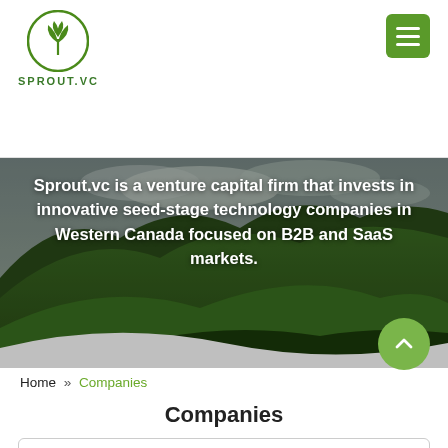SPROUT.VC
[Figure (photo): Mountain landscape with green hills and cloudy sky used as hero background image for Sprout.VC website]
Sprout.vc is a venture capital firm that invests in innovative seed-stage technology companies in Western Canada focused on B2B and SaaS markets.
Home » Companies
Companies